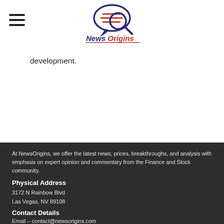News Origins
development.
At NewsOrigins, we offer the latest news, prices, breakthroughs, and analysis with emphasis on expert opinion and commentary from the Finance and Stock community.
Physical Address
3172 N Rainbow Blvd
Las Vegas, NV 89108
Contact Details
Email – contact@newsorigins.com